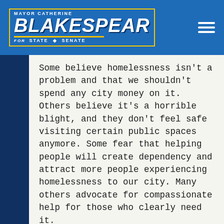[Figure (logo): Mayor Catherine Blakespear for State Senate campaign logo with yellow underline accent]
Some believe homelessness isn't a problem and that we shouldn't spend any city money on it. Others believe it's a horrible blight, and they don't feel safe visiting certain public spaces anymore. Some fear that helping people will create dependency and attract more people experiencing homelessness to our city. Many others advocate for compassionate help for those who clearly need it.
It always surprises me to hear the allegation that as the mayor, I somehow invite or create